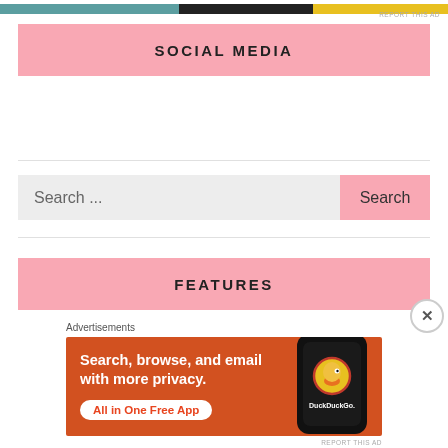[Figure (screenshot): Top advertisement banner strip with teal, black, and yellow sections]
REPORT THIS AD
SOCIAL MEDIA
[Figure (screenshot): Search bar with placeholder text 'Search ...' and pink Search button]
FEATURES
Advertisements
[Figure (screenshot): DuckDuckGo advertisement - orange background with text 'Search, browse, and email with more privacy. All in One Free App' and phone image with DuckDuckGo logo]
REPORT THIS AD